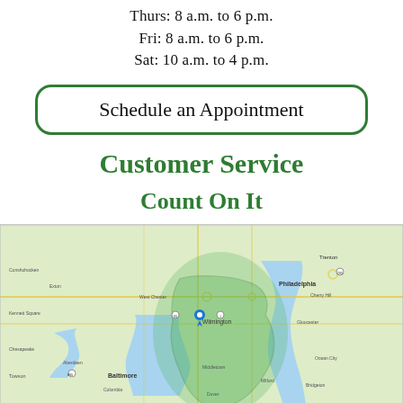Thurs: 8 a.m. to 6 p.m.
Fri: 8 a.m. to 6 p.m.
Sat: 10 a.m. to 4 p.m.
Schedule an Appointment
Customer Service
Count On It
[Figure (map): A regional map showing the greater Philadelphia and Delaware/Maryland/New Jersey area with a green shaded service territory overlay centered around Wilmington, DE. A blue location pin marks Wilmington. Cities visible include Philadelphia, Baltimore, Trenton, Wilmington, and surrounding areas.]